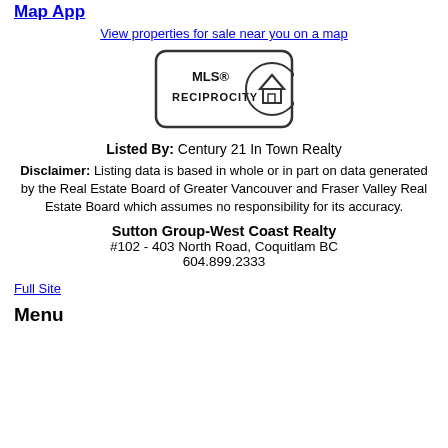Map App
View properties for sale near you on a map
[Figure (logo): MLS Reciprocity logo — rounded rectangle badge with 'MLS® RECIPROCITY' text and a house graphic]
Listed By: Century 21 In Town Realty
Disclaimer: Listing data is based in whole or in part on data generated by the Real Estate Board of Greater Vancouver and Fraser Valley Real Estate Board which assumes no responsibility for its accuracy.
Sutton Group-West Coast Realty
#102 - 403 North Road, Coquitlam BC
604.899.2333
Full Site
Menu